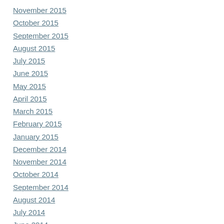November 2015
October 2015
September 2015
August 2015
July 2015
June 2015
May 2015
April 2015
March 2015
February 2015
January 2015
December 2014
November 2014
October 2014
September 2014
August 2014
July 2014
June 2014
May 2014